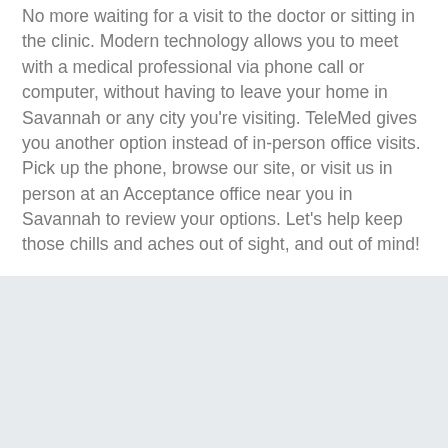No more waiting for a visit to the doctor or sitting in the clinic. Modern technology allows you to meet with a medical professional via phone call or computer, without having to leave your home in Savannah or any city you're visiting. TeleMed gives you another option instead of in-person office visits. Pick up the phone, browse our site, or visit us in person at an Acceptance office near you in Savannah to review your options. Let's help keep those chills and aches out of sight, and out of mind!
[Figure (other): Light gray background section, blank content area]